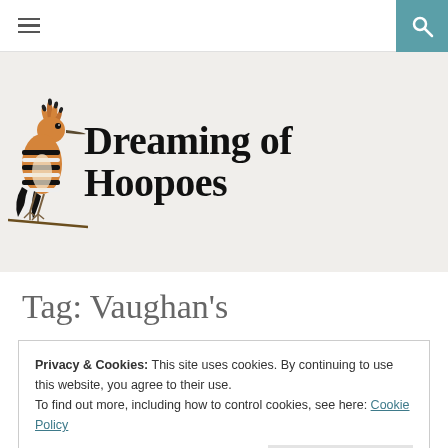≡  🔍
[Figure (illustration): Hoopoe bird illustration perched, with distinctive crest feathers fanned out, black and white striped wings, warm orange-brown body]
Dreaming of Hoopoes
Tag: Vaughan's
Privacy & Cookies: This site uses cookies. By continuing to use this website, you agree to their use. To find out more, including how to control cookies, see here: Cookie Policy
Close and accept